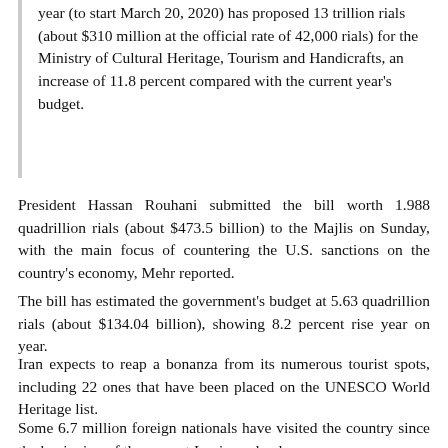year (to start March 20, 2020) has proposed 13 trillion rials (about $310 million at the official rate of 42,000 rials) for the Ministry of Cultural Heritage, Tourism and Handicrafts, an increase of 11.8 percent compared with the current year’s budget.
President Hassan Rouhani submitted the bill worth 1.988 quadrillion rials (about $473.5 billion) to the Majlis on Sunday, with the main focus of countering the U.S. sanctions on the country’s economy, Mehr reported.
The bill has estimated the government’s budget at 5.63 quadrillion rials (about $134.04 billion), showing 8.2 percent rise year on year.
Iran expects to reap a bonanza from its numerous tourist spots, including 22 ones that have been placed on the UNESCO World Heritage list.
Some 6.7 million foreign nationals have visited the country since the beginning of the current Iranian calendar year,